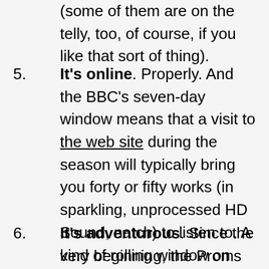(some of them are on the telly, too, of course, if you like that sort of thing).
It's online. Properly. And the BBC's seven-day window means that a visit to the web site during the season will typically bring you forty or fifty works (in sparkling, unprocessed HD Sound, natch) to listen to. A kind of rolling window on the repertoire that no other music festival can provide (all gone now, sadly, but these highlights will be around for a while).
It's adventurous. Since the very beginning, the Proms has hosted new